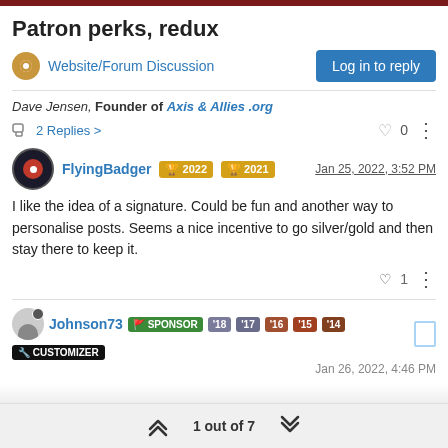Patron perks, redux
Website/Forum Discussion | Log in to reply
Dave Jensen, Founder of Axis & Allies .org
2 Replies > | 0
FlyingBadger 2022 2021 | Jan 25, 2022, 3:52 PM
I like the idea of a signature. Could be fun and another way to personalise posts. Seems a nice incentive to go silver/gold and then stay there to keep it.
1
Johnson73 SPONSOR '18 '17 '16 '15 '14 CUSTOMIZER | Jan 26, 2022, 4:46 PM
1 out of 7